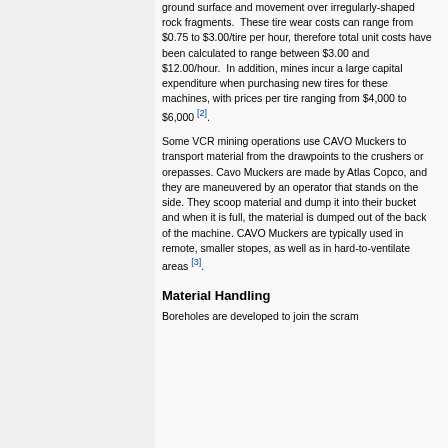ground surface and movement over irregularly-shaped rock fragments. These tire wear costs can range from $0.75 to $3.00/tire per hour, therefore total unit costs have been calculated to range between $3.00 and $12.00/hour. In addition, mines incur a large capital expenditure when purchasing new tires for these machines, with prices per tire ranging from $4,000 to $6,000 [2].
Some VCR mining operations use CAVO Muckers to transport material from the drawpoints to the crushers or orepasses. Cavo Muckers are made by Atlas Copco, and they are maneuvered by an operator that stands on the side. They scoop material and dump it into their bucket and when it is full, the material is dumped out of the back of the machine. CAVO Muckers are typically used in remote, smaller stopes, as well as in hard-to-ventilate areas [3].
Material Handling
Boreholes are developed to join the scram